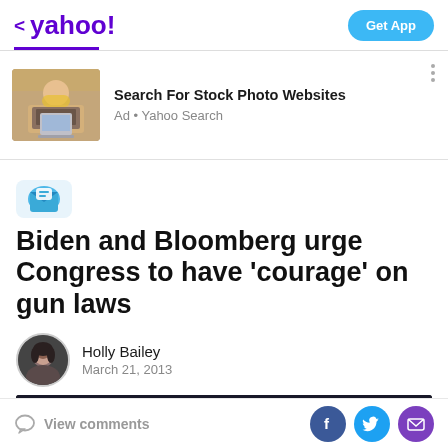< yahoo!   Get App
[Figure (screenshot): Ad banner with woman working at laptop, heading: Search For Stock Photo Websites, Ad · Yahoo Search]
[Figure (logo): Yahoo News source icon (blue envelope/card)]
Biden and Bloomberg urge Congress to have 'courage' on gun laws
Holly Bailey
March 21, 2013
[Figure (photo): Partial dark photo of a person at the bottom of the article]
View comments | Facebook | Twitter | Mail